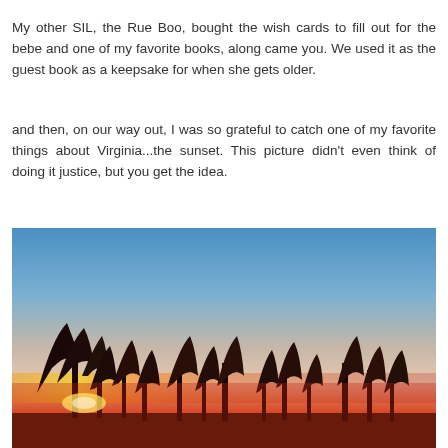My other SIL, the Rue Boo, bought the wish cards to fill out for the bebe and one of my favorite books, along came you. We used it as the guest book as a keepsake for when she gets older.
and then, on our way out, I was so grateful to catch one of my favorite things about Virginia...the sunset. This picture didn't even think of doing it justice, but you get the idea.
[Figure (photo): A Virginia sunset photo showing silhouettes of bare winter trees against a vivid red, orange, and yellow horizon, with a gradient sky transitioning from deep blue at the top to pale gray-peach in the middle to bright red-orange at the bottom near the treeline.]